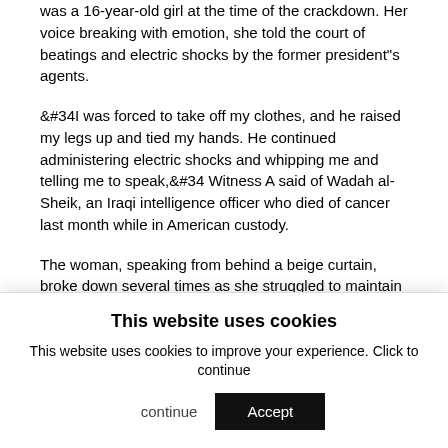was a 16-year-old girl at the time of the crackdown. Her voice breaking with emotion, she told the court of beatings and electric shocks by the former president"s agents.
&#34I was forced to take off my clothes, and he raised my legs up and tied my hands. He continued administering electric shocks and whipping me and telling me to speak,&#34 Witness A said of Wadah al-Sheik, an Iraqi intelligence officer who died of cancer last month while in American custody.
The woman, speaking from behind a beige curtain, broke down several times as she struggled to maintain her composure. &#34God is great. Oh, my Lord!&#34
This website uses cookies
This website uses cookies to improve your experience. Click to continue